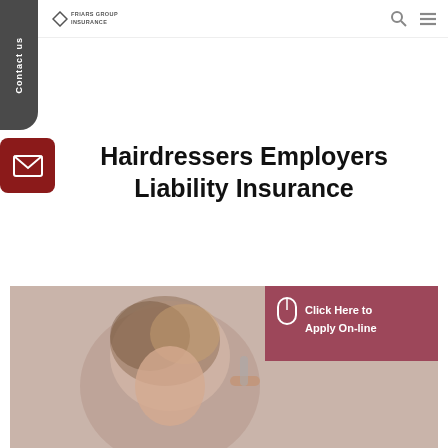FRIARS GROUP INSURANCE
Hairdressers Employers Liability Insurance
[Figure (photo): A woman getting her hair styled, with a 'Click Here to Apply On-line' button overlay on the right side of the image featuring a mouse icon.]